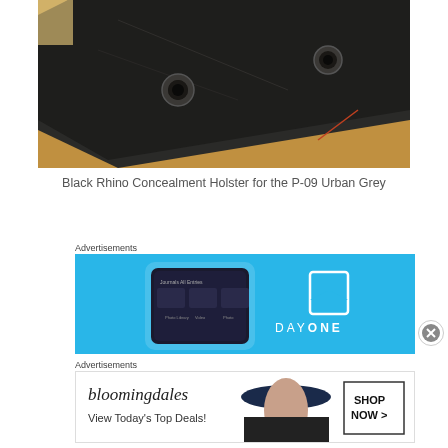[Figure (photo): Close-up photo of a black metal plate or holster piece with two circular holes/rivets, resting on a wooden surface with warm tones]
Black Rhino Concealment Holster for the P-09 Urban Grey
Advertisements
[Figure (screenshot): Advertisement banner for DayOne app on a cyan/blue background showing a smartphone with the app interface on the left and the DayOne logo and text on the right]
Advertisements
[Figure (screenshot): Advertisement banner for Bloomingdale's showing logo text 'bloomingdales' with 'View Today's Top Deals!' and a woman wearing a wide-brim hat, with a 'SHOP NOW >' button box on the right]